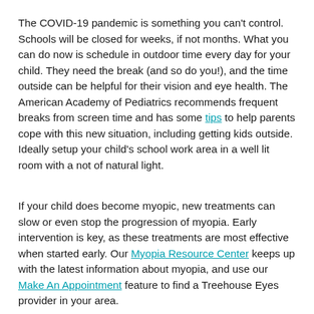The COVID-19 pandemic is something you can't control. Schools will be closed for weeks, if not months. What you can do now is schedule in outdoor time every day for your child. They need the break (and so do you!), and the time outside can be helpful for their vision and eye health. The American Academy of Pediatrics recommends frequent breaks from screen time and has some tips to help parents cope with this new situation, including getting kids outside. Ideally setup your child's school work area in a well lit room with a not of natural light.
If your child does become myopic, new treatments can slow or even stop the progression of myopia. Early intervention is key, as these treatments are most effective when started early. Our Myopia Resource Center keeps up with the latest information about myopia, and use our Make An Appointment feature to find a Treehouse Eyes provider in your area.